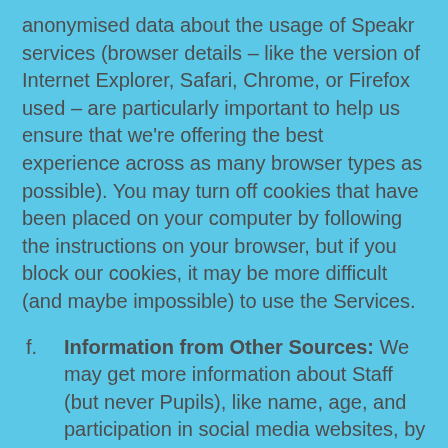anonymised data about the usage of Speakr services (browser details – like the version of Internet Explorer, Safari, Chrome, or Firefox used – are particularly important to help us ensure that we're offering the best experience across as many browser types as possible). You may turn off cookies that have been placed on your computer by following the instructions on your browser, but if you block our cookies, it may be more difficult (and maybe impossible) to use the Services.
f. Information from Other Sources: We may get more information about Staff (but never Pupils), like name, age, and participation in social media websites, by searching the Internet or querying third parties (we refer to that information as Supplemental Information). We also...